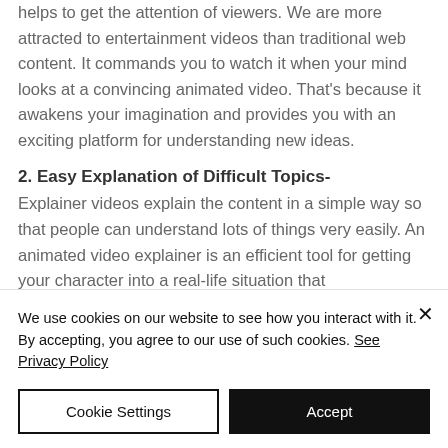helps to get the attention of viewers. We are more attracted to entertainment videos than traditional web content. It commands you to watch it when your mind looks at a convincing animated video. That's because it awakens your imagination and provides you with an exciting platform for understanding new ideas.
2. Easy Explanation of Difficult Topics-
Explainer videos explain the content in a simple way so that people can understand lots of things very easily. An animated video explainer is an efficient tool for getting your character into a real-life situation that
We use cookies on our website to see how you interact with it. By accepting, you agree to our use of such cookies. See Privacy Policy
Cookie Settings
Accept